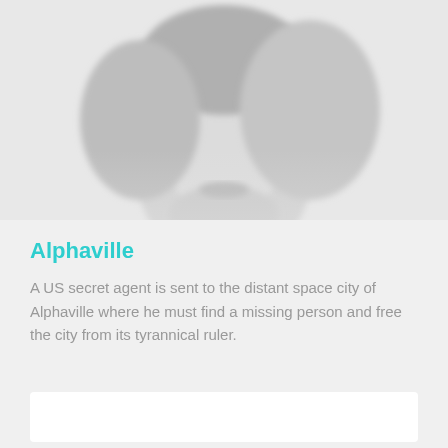[Figure (photo): Blurred black and white photograph of a person's face, cropped at the top of the page]
Alphaville
A US secret agent is sent to the distant space city of Alphaville where he must find a missing person and free the city from its tyrannical ruler.